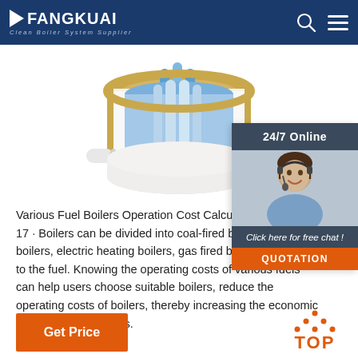FANGKUAI Clean Boiler System Supplier
[Figure (illustration): Cross-section illustration of a boiler unit showing internal cylindrical structure with blue and gold components, white exterior casing, on white background]
[Figure (photo): 24/7 Online chat widget showing a woman with headset smiling, with 'Click here for free chat!' text and QUOTATION button in orange]
Various Fuel Boilers Operation Cost Calculation 2019-12-17 · Boilers can be divided into coal-fired boilers, oil fired boilers, electric heating boilers, gas fired boilers according to the fuel. Knowing the operating costs of various fuels can help users choose suitable boilers, reduce the operating costs of boilers, thereby increasing the economic benefits of enterprises.
Get Price
TOP